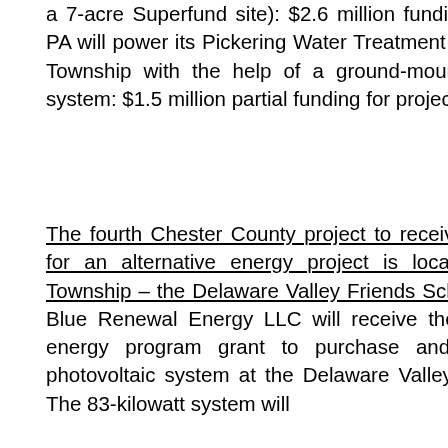a 7-acre Superfund site): $2.6 million funding; and (3) Aqua PA will power its Pickering Water Treatment Plan in Schuylkill Township with the help of a ground-mounted photovoltaic system: $1.5 million partial funding for project.
The fourth Chester County project to receive DCED funding for an alternative energy project is located in Tredyffrin Township – the Delaware Valley Friends School in Paoli. The Blue Renewal Energy LLC will receive the $124,740 solar energy program grant to purchase and install a solar photovoltaic system at the Delaware Valley Friends School. The 83-kilowatt system will